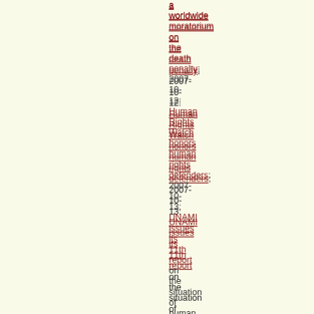a worldwide moratorium on the death penalty; 2007-10-12: Human Rights Watch honors human rights defenders; 2007-10-13: UNAMI issues its 11th report on the situation of human